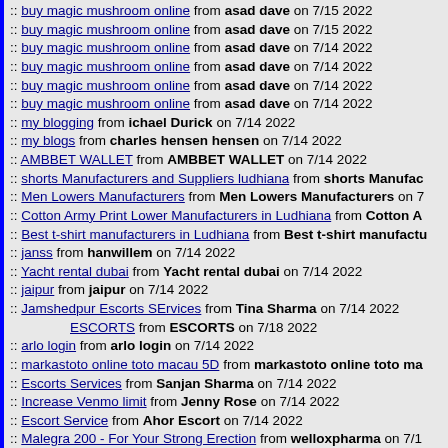:: buy magic mushroom online from asad dave on 7/15 2022
:: buy magic mushroom online from asad dave on 7/15 2022
:: buy magic mushroom online from asad dave on 7/14 2022
:: buy magic mushroom online from asad dave on 7/14 2022
:: buy magic mushroom online from asad dave on 7/14 2022
:: buy magic mushroom online from asad dave on 7/14 2022
:: my blogging from ichael Durick on 7/14 2022
:: my blogs from charles hensen hensen on 7/14 2022
:: AMBBET WALLET from AMBBET WALLET on 7/14 2022
:: shorts Manufacturers and Suppliers ludhiana from shorts Manufac...
:: Men Lowers Manufacturers from Men Lowers Manufacturers on 7...
:: Cotton Army Print Lower Manufacturers in Ludhiana from Cotton A...
:: Best t-shirt manufacturers in Ludhiana from Best t-shirt manufactu...
:: janss from hanwillem on 7/14 2022
:: Yacht rental dubai from Yacht rental dubai on 7/14 2022
:: jaipur from jaipur on 7/14 2022
:: Jamshedpur Escorts SErvices from Tina Sharma on 7/14 2022
ESCORTS from ESCORTS on 7/18 2022
:: arlo login from arlo login on 7/14 2022
:: markastoto online toto macau 5D from markastoto online toto ma...
:: Escorts Services from Sanjan Sharma on 7/14 2022
:: Increase Venmo limit from Jenny Rose on 7/14 2022
:: Escort Service from Ahor Escort on 7/14 2022
:: Malegra 200 - For Your Strong Erection from welloxpharma on 7/1...
:: Tadarise | Tadalafil | Prevents Men From ED from buymygenerix o...
:: How Does Horoscope Look Like? Horoscope Forecasts from Horos...
:: Weekend Goa package from Weekend Goa package on 7/14 2022
:: Vashikaran Specialist | Renowned Astrology Guru from Vashikaran...
:: Black Magic Specialist | Renowned Astrology Guru June 14, 2022 f...
:: Black Magic Specialist | Renowned Astrology Guru from Black Ma...